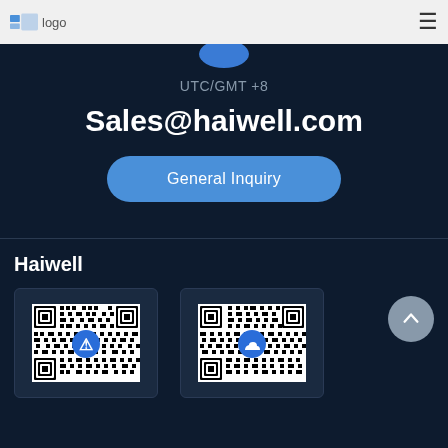logo | Haiwell (hamburger menu)
UTC/GMT +8
Sales@haiwell.com
General Inquiry
Haiwell
[Figure (other): QR code with Haiwell logo in center]
[Figure (other): QR code with Haiwell cloud logo in center]